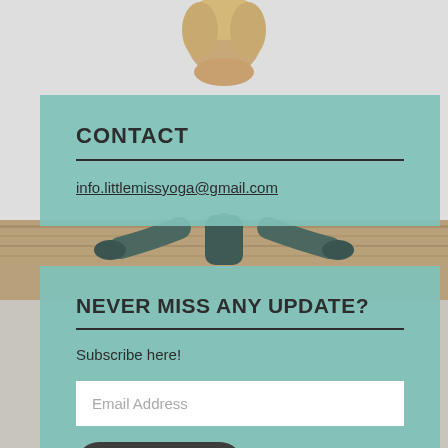[Figure (photo): Yoga person photographed from behind doing a yoga pose on a wooden floor, background grey wall. Head visible at top, body visible in middle gap between two teal content boxes.]
CONTACT
info.littlemissyoga@gmail.com
NEVER MISS ANY UPDATE?
Subscribe here!
Email Address
Subscribe